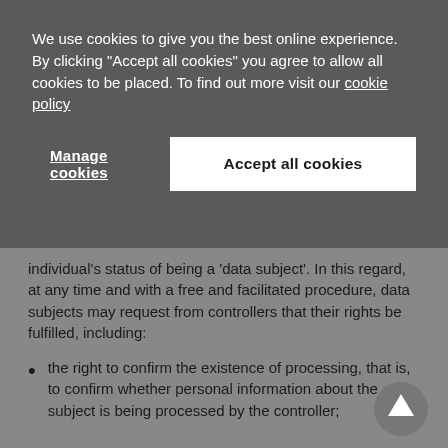We use cookies to give you the best online experience. By clicking "Accept all cookies" you agree to allow all cookies to be placed. To find out more visit our cookie policy
Manage cookies
Accept all cookies
individual's status of being a 'data subject'. In this regard, at any time and with a free and facilitated procedure, data subjects may request from controllers that their rights be fulfilled, including:
the right to confirm the existence of processing, that is, to confirm whether personal information about the data subject is being processed by the controller;